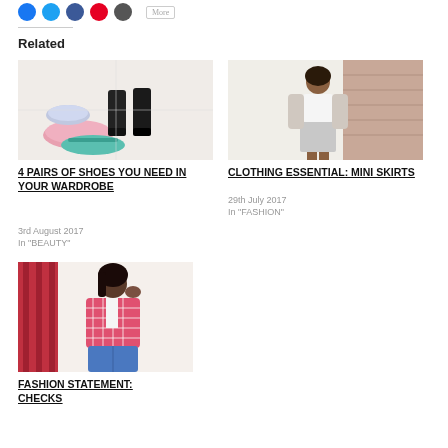Related
[Figure (photo): Flat lay of multiple pairs of shoes including black heels, pink sneakers, and teal sandals on a white tiled floor]
4 PAIRS OF SHOES YOU NEED IN YOUR WARDROBE
3rd August 2017
In "BEAUTY"
[Figure (photo): Young woman in white top and gray mini skirt standing near a brick wall]
CLOTHING ESSENTIAL: MINI SKIRTS
29th July 2017
In "FASHION"
[Figure (photo): Young woman in pink checked shirt and blue jeans holding phone to her face]
FASHION STATEMENT: CHECKS